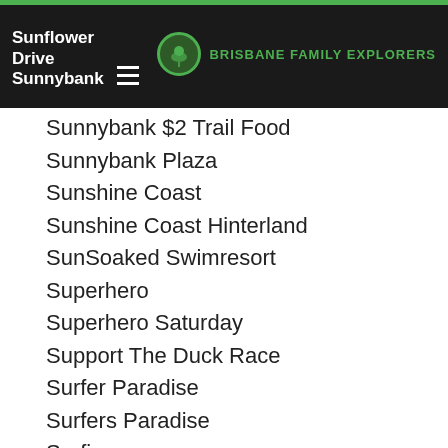Sunflower Drive / Sunnybank — Brisbane Family Explorers
Sunnybank $2 Trail Food
Sunnybank Plaza
Sunshine Coast
Sunshine Coast Hinterland
SunSoaked Swimresort
Superhero
Superhero Saturday
Support The Duck Race
Surfer Paradise
Surfers Paradise
Surfing
Sutton's Beach
Sweden
Swell Sculpture Festival
Swimming Wear
Sylvan Beach
Taigum